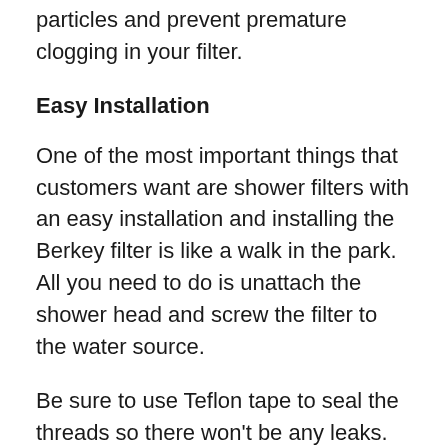particles and prevent premature clogging in your filter.
Easy Installation
One of the most important things that customers want are shower filters with an easy installation and installing the Berkey filter is like a walk in the park. All you need to do is unattach the shower head and screw the filter to the water source.
Be sure to use Teflon tape to seal the threads so there won't be any leaks. After that, you just need to reconnect the shower head to the filter and you'll be good to go, simple as that.
Unlike some filters...